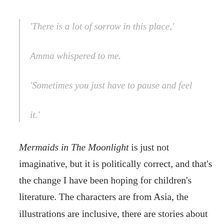'There is a lot of sorrow in this place,' Amma whispered to me. 'Sometimes you just have to pause and feel it.'
Mermaids in The Moonlight is just not imaginative, but it is politically correct, and that's the change I have been hoping for children's literature. The characters are from Asia, the illustrations are inclusive, there are stories about the women of Mattel and how they and their families and their...